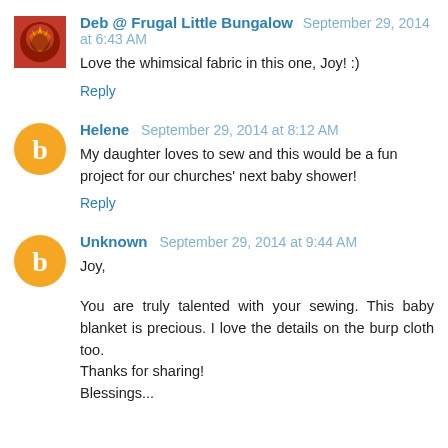Deb @ Frugal Little Bungalow  September 29, 2014 at 6:43 AM
Love the whimsical fabric in this one, Joy! :)
Reply
Helene  September 29, 2014 at 8:12 AM
My daughter loves to sew and this would be a fun project for our churches' next baby shower!
Reply
Unknown  September 29, 2014 at 9:44 AM
Joy,
You are truly talented with your sewing. This baby blanket is precious. I love the details on the burp cloth too.
Thanks for sharing!
Blessings...